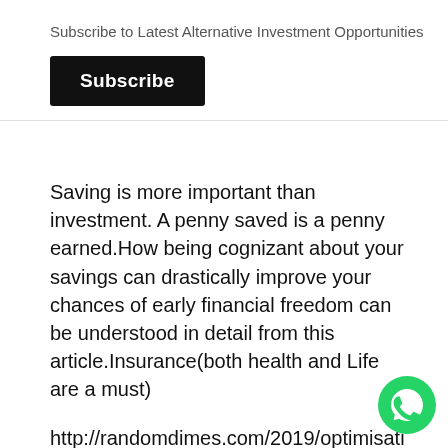Subscribe to Latest Alternative Investment Opportunities
Subscribe
Saving is more important than investment. A penny saved is a penny earned.How being cognizant about your savings can drastically improve your chances of early financial freedom can be understood in detail from this article.Insurance(both health and Life are a must)
http://randomdimes.com/2019/optimisation-of-investment/
When we have replaced all our money requirement through passive income is the